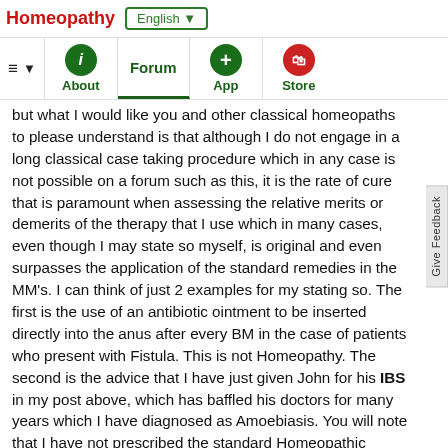Homeopathy | English ▼
≡ ▼ | About | Forum | App | Store
but what I would like you and other classical homeopaths to please understand is that although I do not engage in a long classical case taking procedure which in any case is not possible on a forum such as this, it is the rate of cure that is paramount when assessing the relative merits or demerits of the therapy that I use which in many cases, even though I may state so myself, is original and even surpasses the application of the standard remedies in the MM's. I can think of just 2 examples for my stating so. The first is the use of an antibiotic ointment to be inserted directly into the anus after every BM in the case of patients who present with Fistula. This is not Homeopathy. The second is the advice that I have just given John for his IBS in my post above, which has baffled his doctors for many years which I have diagnosed as Amoebiasis. You will note that I have not prescribed the standard Homeopathic remedies for his disease as I feel that it is only a good Amoebiocide that canl help him immediately. This too is not Homeopathy as it is generally practiced, but as I have mentioned time and time again, the patient's well being comes first and this is irrespective of the therapy used to cure him.